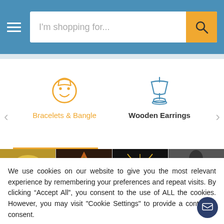[Figure (screenshot): E-commerce website header with hamburger menu, search bar with placeholder 'I'm shopping for...', and orange search button with magnifying glass icon]
[Figure (screenshot): Category navigation panel showing 'Bracelets & Bangle' (active, orange icon and underline) and 'Wooden Earrings' (blue lamp icon, bold text) with left/right navigation arrows and product image strip below]
We use cookies on our website to give you the most relevant experience by remembering your preferences and repeat visits. By clicking “Accept All”, you consent to the use of ALL the cookies. However, you may visit "Cookie Settings" to provide a controlled consent.
[Figure (screenshot): Cookie consent buttons: 'Cookie Settings' (grey) and 'Accept All' (green), with dark navy chat bubble icon in bottom right]